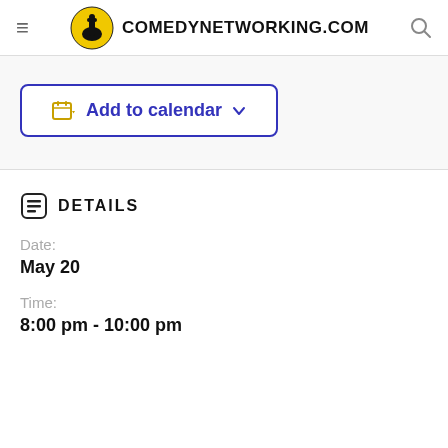COMEDYNETWORKING.COM
[Figure (other): Add to calendar button with calendar icon and dropdown chevron]
DETAILS
Date:
May 20
Time:
8:00 pm - 10:00 pm